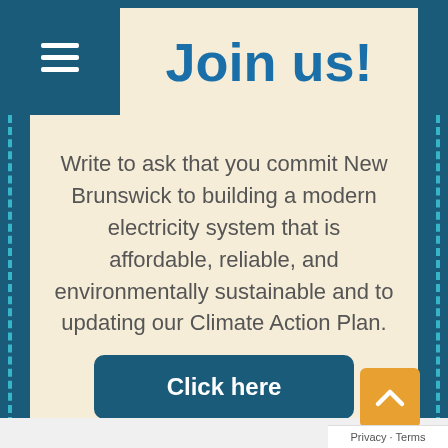Join us!
Write to ask that you commit New Brunswick to building a modern electricity system that is affordable, reliable, and environmentally sustainable and to updating our Climate Action Plan.
[Figure (other): Dark teal/blue button labeled 'Click here']
Privacy · Terms